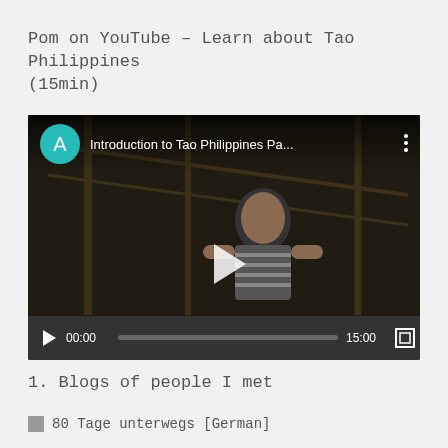Pom on YouTube – Learn about Tao Philippines (15min)
[Figure (screenshot): YouTube video embed showing 'Introduction to Tao Philippines Pa...' with a teal avatar circle with letter A, a person in a striped shirt in a bamboo structure setting, play controls showing 00:00 / 15:00 and fullscreen icon]
1. Blogs of people I met
80 Tage unterwegs [German]